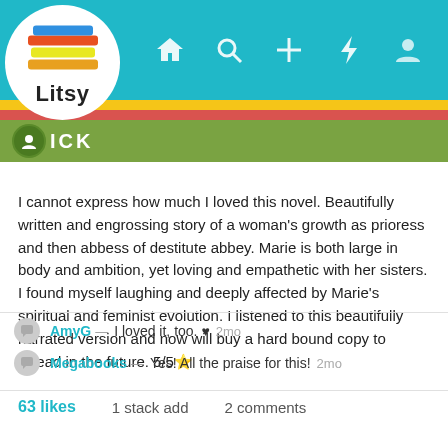Litsy app header with navigation icons
I cannot express how much I loved this novel. Beautifully written and engrossing story of a woman's growth as prioress and then abbess of destitute abbey. Marie is both large in body and ambition, yet loving and empathetic with her sisters. I found myself laughing and deeply affected by Marie's spiritual and feminist evolution. I listened to this beautifully narrated version and now will buy a hard bound copy to reread in the future. 5/5⭐
AmyG — I loved it, too. ♥  2mo
Megabooks — Yes! All the praise for this!  2mo
63 likes   1 stack add   2 comments